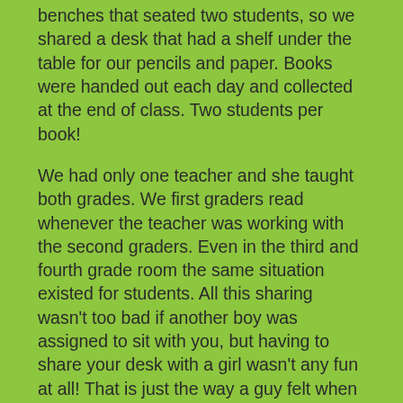benches that seated two students, so we shared a desk that had a shelf under the table for our pencils and paper. Books were handed out each day and collected at the end of class. Two students per book!
We had only one teacher and she taught both grades. We first graders read whenever the teacher was working with the second graders. Even in the third and fourth grade room the same situation existed for students. All this sharing wasn't too bad if another boy was assigned to sit with you, but having to share your desk with a girl wasn't any fun at all! That is just the way a guy felt when he was only six years old.
* * *